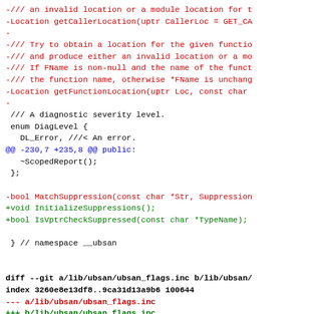Diff code patch showing removed and added lines in a C++ source file (ubsan diagnostics header and ubsan_flags.inc), with hunk headers and context lines.